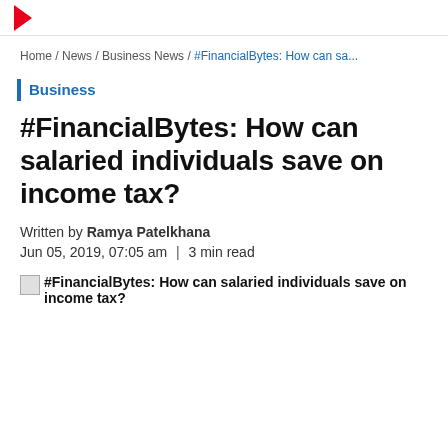Home / News / Business News / #FinancialBytes: How can sa...
Business
#FinancialBytes: How can salaried individuals save on income tax?
Written by Ramya Patelkhana
Jun 05, 2019, 07:05 am | 3 min read
#FinancialBytes: How can salaried individuals save on income tax?